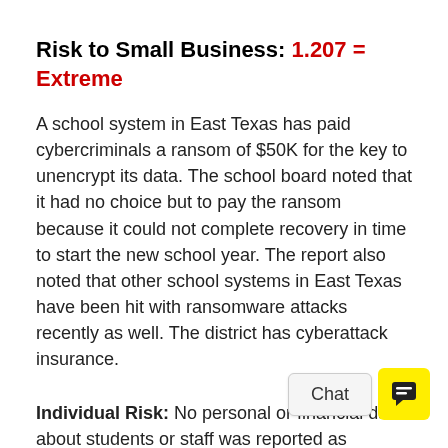Risk to Small Business: 1.207 = Extreme
A school system in East Texas has paid cybercriminals a ransom of $50K for the key to unencrypt its data. The school board noted that it had no choice but to pay the ransom because it could not complete recovery in time to start the new school year. The report also noted that other school systems in East Texas have been hit with ransomware attacks recently as well. The district has cyberattack insurance.
Individual Risk: No personal or financial data about students or staff was reported as compromised at this time.
Customers Impacted: Unknown